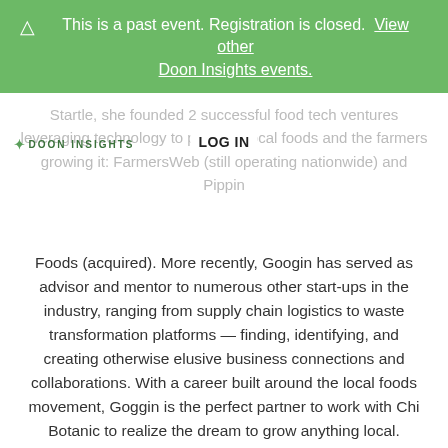⚠ This is a past event. Registration is closed. View other Doon Insights events.
Startle, she founded 2 successful food tech ventures leveraging technology to promote local foods and the farmers growing it: FarmersWeb (still operating nationwide) and Pippin Foods (acquired). More recently, Googin has served as advisor and mentor to numerous other start-ups in the industry, ranging from supply chain logistics to waste transformation platforms — finding, identifying, and creating otherwise elusive business connections and collaborations. With a career built around the local foods movement, Goggin is the perfect partner to work with Chi Botanic to realize the dream to grow anything local.